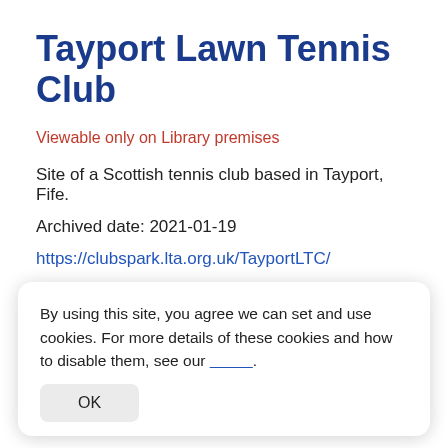Tayport Lawn Tennis Club
Viewable only on Library premises
Site of a Scottish tennis club based in Tayport, Fife.
Archived date: 2021-01-19
https://clubspark.lta.org.uk/TayportLTC/
Tennis Gallery
By using this site, you agree we can set and use cookies. For more details of these cookies and how to disable them, see our .